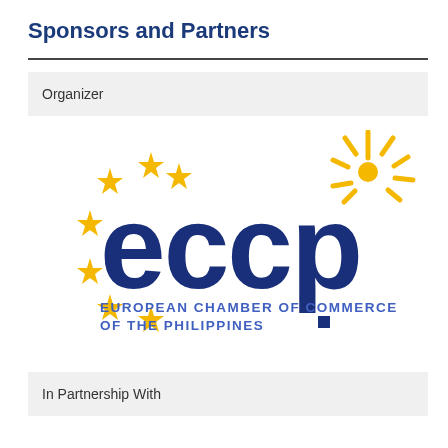Sponsors and Partners
Organizer
[Figure (logo): ECCP - European Chamber of Commerce of the Philippines logo. Features the letters 'eccp' in dark navy blue, surrounded by golden stars on the left side arranged in a circular arc, and golden sunburst rays on the upper right. Below the letters reads 'EUROPEAN CHAMBER OF COMMERCE OF THE PHILIPPINES' in blue text, with a small dark blue square.]
In Partnership With